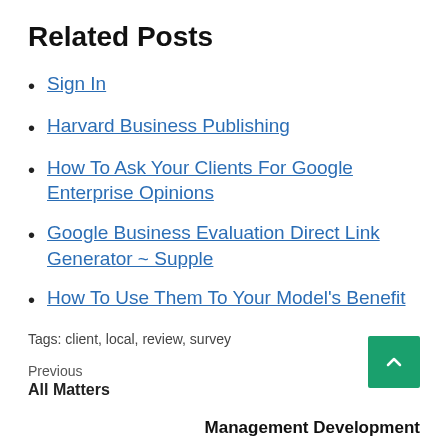Related Posts
Sign In
Harvard Business Publishing
How To Ask Your Clients For Google Enterprise Opinions
Google Business Evaluation Direct Link Generator ~ Supple
How To Use Them To Your Model's Benefit
Tags: client, local, review, survey
Previous
All Matters
Management Development